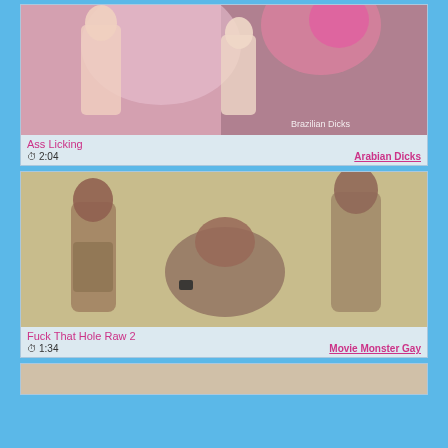[Figure (photo): Adult content thumbnail - Ass Licking video]
Ass Licking
2:04   Arabian Dicks
[Figure (photo): Adult content thumbnail - Fuck That Hole Raw 2 video]
Fuck That Hole Raw 2
1:34   Movie Monster Gay
[Figure (photo): Adult content thumbnail - partial third video]